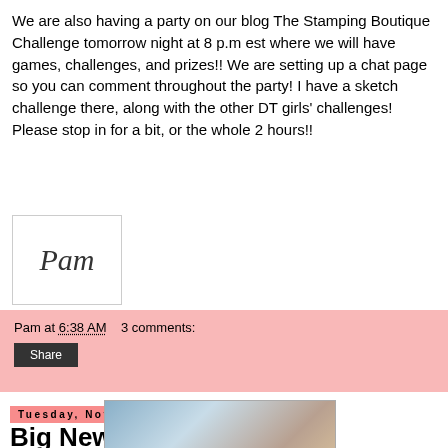We are also having a party on our blog The Stamping Boutique Challenge tomorrow night at 8 p.m est where we will have games, challenges, and prizes!! We are setting up a chat page so you can comment throughout the party! I have a sketch challenge there, along with the other DT girls' challenges! Please stop in for a bit, or the whole 2 hours!!
[Figure (illustration): Handwritten cursive signature reading 'Pam' in a white bordered box]
Pam at 6:38 AM    3 comments:
Share
Tuesday, November 12, 2013
Big News!
[Figure (photo): Partial photo showing what appears to be baby items or craft supplies in blue and brown tones]